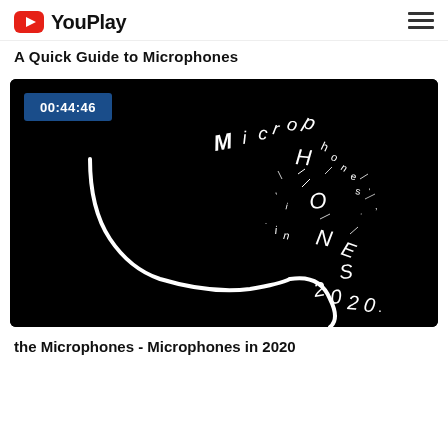YouPlay
A Quick Guide to Microphones
[Figure (screenshot): Video thumbnail on black background showing hand-drawn white lettering spelling 'Microphones' with artistic scattered letters, timestamp 00:44:46 shown in blue box top-left]
the Microphones - Microphones in 2020